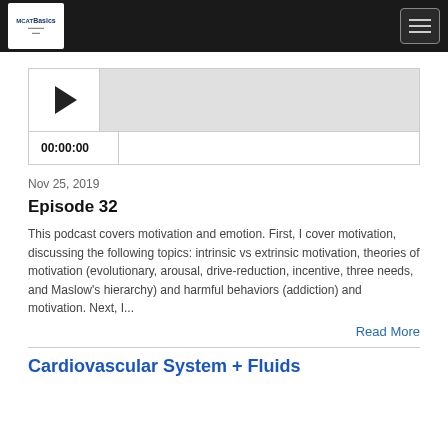MCATBasics [logo] [hamburger menu]
[Figure (other): Audio player widget with play button, progress bar area, time display 00:00:00, and seek bar]
Nov 25, 2019
Episode 32
This podcast covers motivation and emotion. First, I cover motivation, discussing the following topics: intrinsic vs extrinsic motivation, theories of motivation (evolutionary, arousal, drive-reduction, incentive, three needs, and Maslow's hierarchy) and harmful behaviors (addiction) and motivation. Next, I...
Read More
Cardiovascular System + Fluids